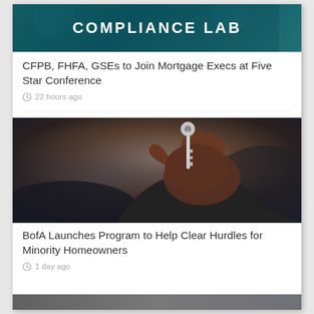[Figure (photo): Compliance Lab banner with teal/dark background]
CFPB, FHFA, GSEs to Join Mortgage Execs at Five Star Conference
22 hours ago
[Figure (photo): A hand holding up a key against a dark blurred background]
BofA Launches Program to Help Clear Hurdles for Minority Homeowners
1 day ago
[Figure (photo): Partially visible image at bottom of page]